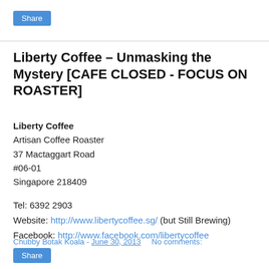Share
Liberty Coffee – Unmasking the Mystery [CAFE CLOSED - FOCUS ON ROASTER]
Liberty Coffee
Artisan Coffee Roaster
37 Mactaggart Road
#06-01
Singapore 218409
Tel: 6392 2903
Website: http://www.libertycoffee.sg/ (but Still Brewing)
Facebook: http://www.facebook.com/libertycoffee
Chubby Botak Koala - June 30, 2013   No comments:
Share